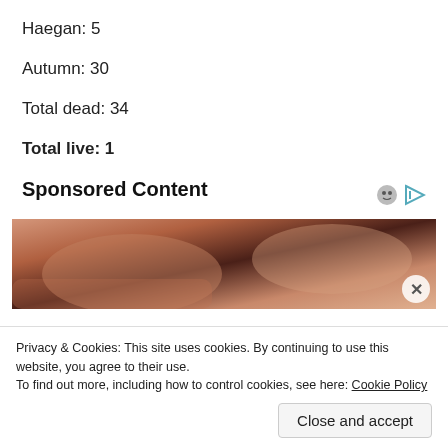Haegan: 5
Autumn: 30
Total dead: 34
Total live: 1
Sponsored Content
[Figure (photo): Close-up photo of human fingernails/skin, pinkish-brown tones with dark background]
Privacy & Cookies: This site uses cookies. By continuing to use this website, you agree to their use.
To find out more, including how to control cookies, see here: Cookie Policy
Close and accept